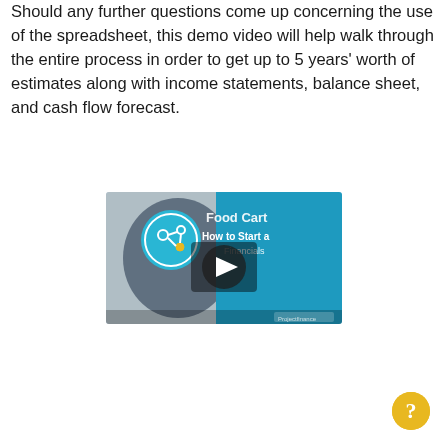Should any further questions come up concerning the use of the spreadsheet, this demo video will help walk through the entire process in order to get up to 5 years' worth of estimates along with income statements, balance sheet, and cash flow forecast.
[Figure (screenshot): Video thumbnail showing 'Food Cart - How to Start a [Business] Financials' with a play button overlay, featuring a circular logo icon on the left and a person in the background]